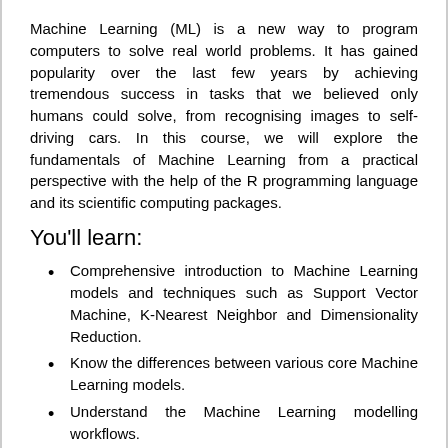Machine Learning (ML) is a new way to program computers to solve real world problems. It has gained popularity over the last few years by achieving tremendous success in tasks that we believed only humans could solve, from recognising images to self-driving cars. In this course, we will explore the fundamentals of Machine Learning from a practical perspective with the help of the R programming language and its scientific computing packages.
You'll learn:
Comprehensive introduction to Machine Learning models and techniques such as Support Vector Machine, K-Nearest Neighbor and Dimensionality Reduction.
Know the differences between various core Machine Learning models.
Understand the Machine Learning modelling workflows.
Use R and its relevant packages to process real datasets, train and apply Machine Learning models
Prerequisites:
Either Learn to Program: R and Data Manipulation in R or Learn to Program: R and Data Manipulation and Visualisation in Rneeded to attend this course. If you already have experience with programming, please check the topics covered in the courses above and Introduction to